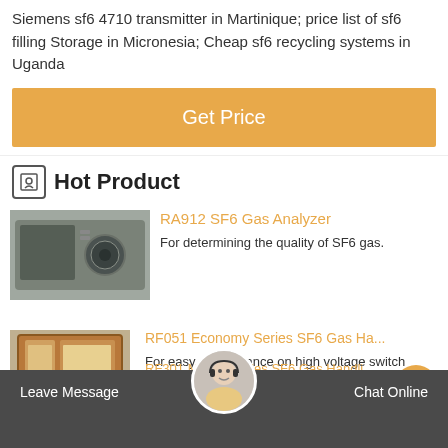Siemens sf6 4710 transmitter in Martinique; price list of sf6 filling Storage in Micronesia; Cheap sf6 recycling systems in Uganda
Get Price
Hot Product
RA912 SF6 Gas Analyzer
For determining the quality of SF6 gas.
[Figure (photo): RA912 SF6 Gas Analyzer device photo]
RF051 Economy Series SF6 Gas Ha...
For easy maintenance on high voltage switch
[Figure (photo): RF051 Economy Series SF6 Gas Handling device photo]
RF301 Master Series SF6 Gas Handli...
Leave Message   Chat Online